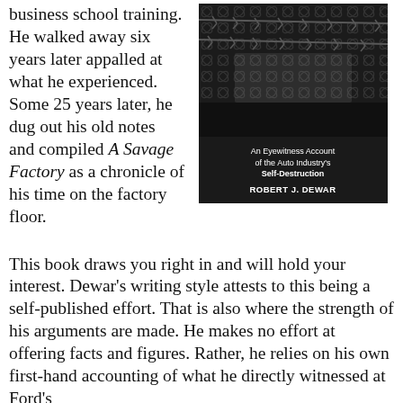business school training. He walked away six years later appalled at what he experienced. Some 25 years later, he dug out his old notes and compiled A Savage Factory as a chronicle of his time on the factory floor.
[Figure (photo): Book cover of 'A Savage Factory' by Robert J. Dewar. Shows a barbed wire fence over dark chain-link fence on a dark/black background. Subtitle reads 'An Eyewitness Account of the Auto Industry's Self-Destruction'. Author name ROBERT J. DEWAR appears in white bold text.]
This book draws you right in and will hold your interest. Dewar's writing style attests to this being a self-published effort. That is also where the strength of his arguments are made. He makes no effort at offering facts and figures. Rather, he relies on his own first-hand accounting of what he directly witnessed at Ford's